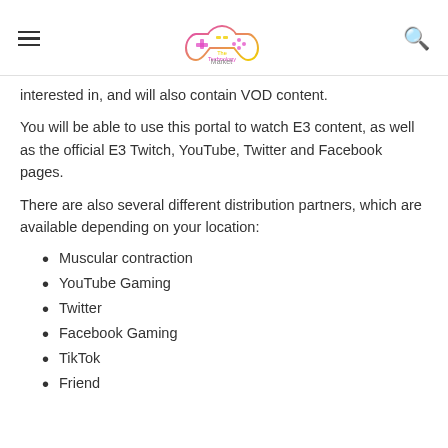The Technology Market [logo with game controller]
interested in, and will also contain VOD content.
You will be able to use this portal to watch E3 content, as well as the official E3 Twitch, YouTube, Twitter and Facebook pages.
There are also several different distribution partners, which are available depending on your location:
Muscular contraction
YouTube Gaming
Twitter
Facebook Gaming
TikTok
Friend